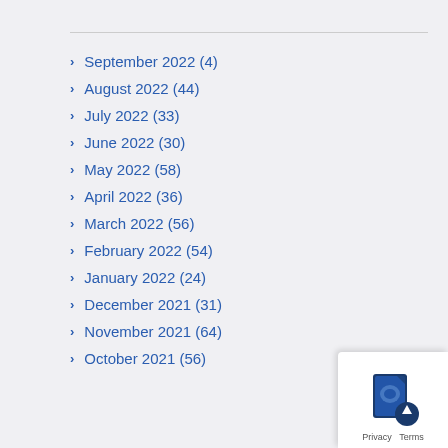September 2022 (4)
August 2022 (44)
July 2022 (33)
June 2022 (30)
May 2022 (58)
April 2022 (36)
March 2022 (56)
February 2022 (54)
January 2022 (24)
December 2021 (31)
November 2021 (64)
October 2021 (56)